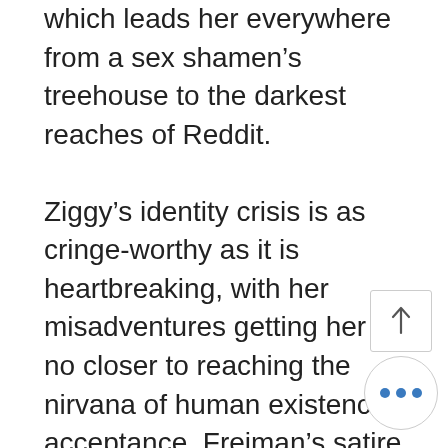which leads her everywhere from a sex shamen's treehouse to the darkest reaches of Reddit.
Ziggy's identity crisis is as cringe-worthy as it is heartbreaking, with her misadventures getting her no closer to reaching the nirvana of human existence: acceptance. Freiman's satire is cutting in it's criticism of our self obsessed society, exposing the many ironies of contemporary culture. The book forces us to laugh at ourselves and poses important questions about equality, identity and the danger of dogmatism. While Frieman doesn't offer any hard and fast answers, her acid sharp writing is a reflection on ma… peace not just